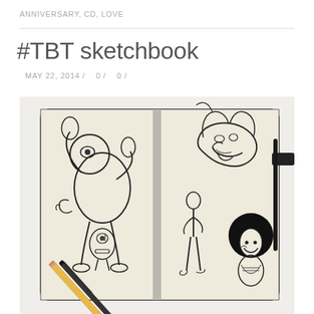ANNIVERSARY, CD, LOVE
#TBT sketchbook
MAY 22, 2014 /   0 /   0 /
[Figure (photo): Open Moleskine sketchbook with pencil and pen sketches of cartoon characters: a robot/astronaut figure on the left page, and expressive face/body sketches on the right page. A wooden pencil and dark pen rest on top of the sketchbook. The sketchbook sits on a white surface.]